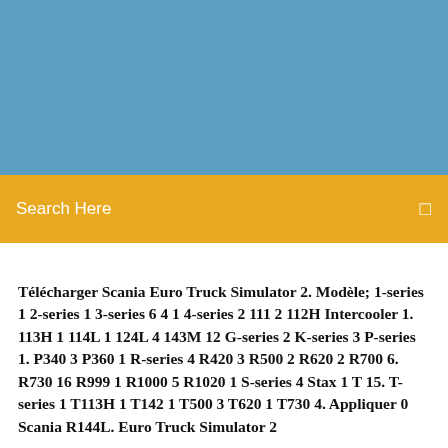[Figure (other): Blue header background banner at the top of the page]
Search Here
Télécharger Scania Euro Truck Simulator 2. Modèle; 1-series 1 2-series 1 3-series 6 4 1 4-series 2 111 2 112H Intercooler 1. 113H 1 114L 1 124L 4 143M 12 G-series 2 K-series 3 P-series 1. P340 3 P360 1 R-series 4 R420 3 R500 2 R620 2 R700 6. R730 16 R999 1 R1000 5 R1020 1 S-series 4 Stax 1 T 15. T-series 1 T113H 1 T142 1 T500 3 T620 1 T730 4. Appliquer 0 Scania R144L. Euro Truck Simulator 2